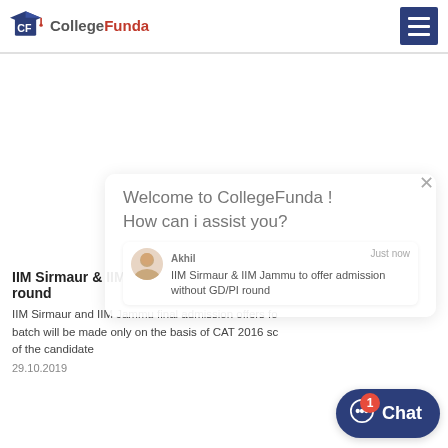CollegeFunda
Welcome to CollegeFunda !
How can i assist you?
Akhil · Just now
IIM Sirmaur & IIM Jammu to offer admission without GD/PI round
IIM Sirmaur & IIM Jammu to offer admission without GD/PI round
IIM Sirmaur and IIM Jammu final admission offers fo batch will be made only on the basis of CAT 2016 sc of the candidate
29.10.2019